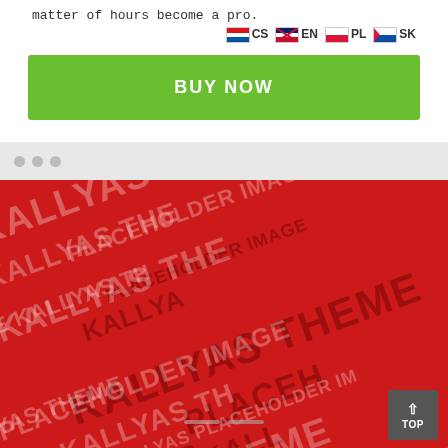matter of hours become a pro.
CS EN PL SK
BUY NOW
[Figure (screenshot): Browser window mock with three dots in toolbar, showing a red KALLYAS THEME PLACEHOLDER IMAGE watermark-style placeholder image with slider navigation dots at the bottom and a TOP button in the bottom-right corner.]